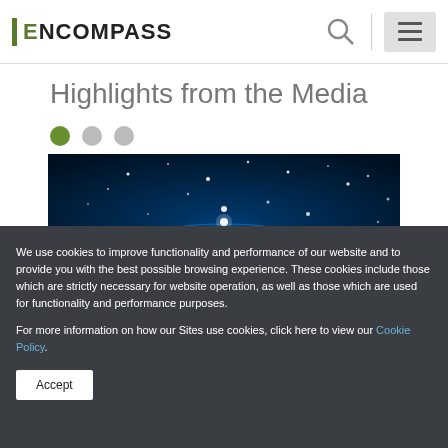ENCOMPASS
Highlights from the Media
[Figure (illustration): Three navigation dots: one active green, two inactive gray]
[Figure (photo): Hero image of a glowing blue digital globe with light particles on a dark blue background]
We use cookies to improve functionality and performance of our website and to provide you with the best possible browsing experience. These cookies include those which are strictly necessary for website operation, as well as those which are used for functionality and performance purposes.
For more information on how our Sites use cookies, click here to view our Cookie Policy.
Accept